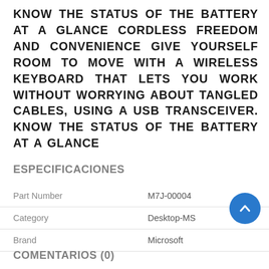KNOW THE STATUS OF THE BATTERY AT A GLANCE CORDLESS FREEDOM AND CONVENIENCE GIVE YOURSELF ROOM TO MOVE WITH A WIRELESS KEYBOARD THAT LETS YOU WORK WITHOUT WORRYING ABOUT TANGLED CABLES, USING A USB TRANSCEIVER. KNOW THE STATUS OF THE BATTERY AT A GLANCE
ESPECIFICACIONES
| Part Number | M7J-00004 |
| Category | Desktop-MS |
| Brand | Microsoft |
COMENTARIOS (0)